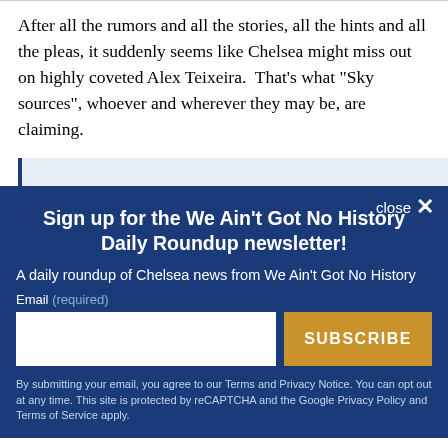After all the rumors and all the stories, all the hints and all the pleas, it suddenly seems like Chelsea might miss out on highly coveted Alex Teixeira.  That's what "Sky sources", whoever and wherever they may be, are claiming.
Sign up for the We Ain't Got No History Daily Roundup newsletter!
A daily roundup of Chelsea news from We Ain't Got No History
Email (required)
SUBSCRIBE
By submitting your email, you agree to our Terms and Privacy Notice. You can opt out at any time. This site is protected by reCAPTCHA and the Google Privacy Policy and Terms of Service apply.